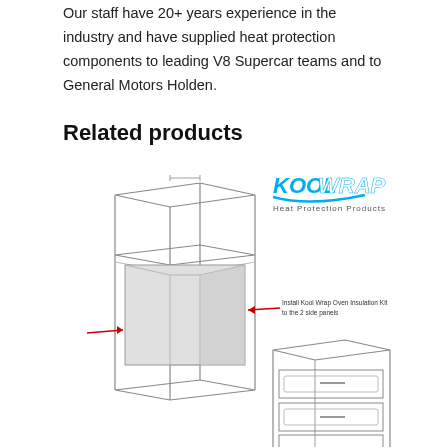Our staff have 20+ years experience in the industry and have supplied heat protection components to leading V8 Supercar teams and to General Motors Holden.
Related products
[Figure (illustration): Technical illustration showing a tall kitchen cabinet unit with an oven cavity, with red arrows pointing to side panels labeled 'Install Kool Wrap Oven Insulation Kit to the 2 side panels'. A smaller oven unit is shown to the right. The KoolWrap Heat Protection Products logo is in the upper right of the illustration.]